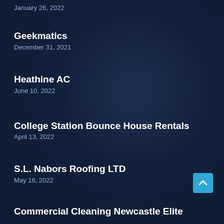January 26, 2022
Geekmatics
December 31, 2021
Heathine AC
June 10, 2022
College Station Bounce House Rentals
April 13, 2022
S.L. Nabors Roofing LTD
May 16, 2022
Commercial Cleaning Newcastle Elite